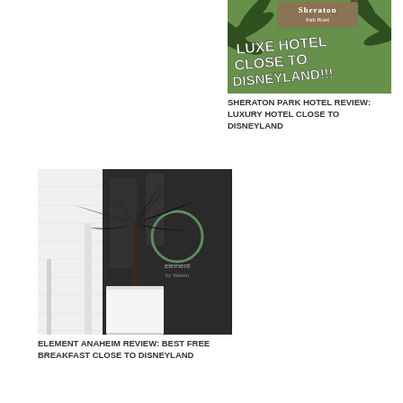[Figure (photo): Sheraton Park Hotel exterior photo with palm trees and text overlay reading LUXE HOTEL CLOSE TO DISNEYLAND!!!]
SHERATON PARK HOTEL REVIEW: LUXURY HOTEL CLOSE TO DISNEYLAND
[Figure (photo): Element Anaheim hotel entrance with dark glass facade, a circular logo/sign reading 'element by Westin', and a tall spiky tropical plant in a white rectangular planter]
ELEMENT ANAHEIM REVIEW: BEST FREE BREAKFAST CLOSE TO DISNEYLAND